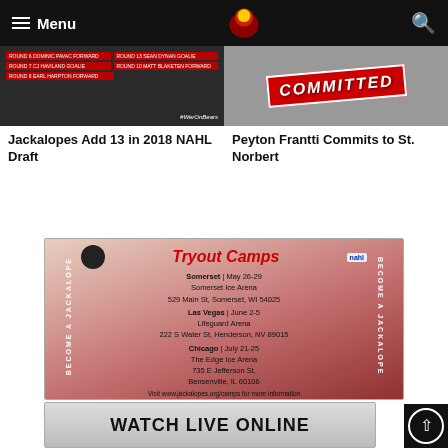Menu | [Logo] | Search
[Figure (screenshot): Screenshot of a dark background card listing 2018 NAHL Draft picks with red badges and the hashtag #WerOnBears]
Jackalopes Add 13 in 2018 NAHL Draft
[Figure (photo): Image showing a red 'COMMITTED' stamp on a dark background]
Peyton Frantti Commits to St. Norbert
[Figure (infographic): Tryout Camps advertisement banner for Jackalopes. Somerset May 26-29, Somerset Ice Arena, 529 Main St, Somerset, WI 54025. Las Vegas June 2-5, Lifeguard Arena, 222 S Water St, Henderson, NV 89015. Chicago July 21-25, The Edge Ice Arena, 735 E Jefferson St, Bensenville, IL 60106. Visit www.jackalopes.org/camps for more information. NAHL logo. BECOME A JACKALOPE.]
[Figure (screenshot): Watch Live Online button banner]